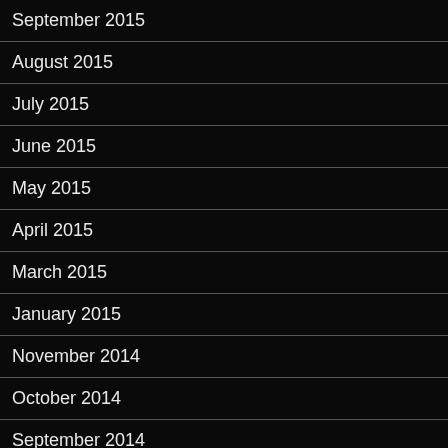September 2015
August 2015
July 2015
June 2015
May 2015
April 2015
March 2015
January 2015
November 2014
October 2014
September 2014
August 2014
July 2014